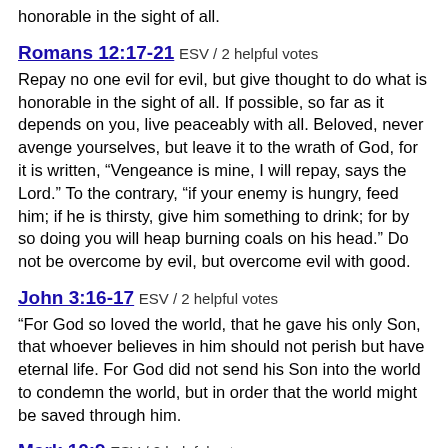honorable in the sight of all.
Romans 12:17-21 ESV / 2 helpful votes
Repay no one evil for evil, but give thought to do what is honorable in the sight of all. If possible, so far as it depends on you, live peaceably with all. Beloved, never avenge yourselves, but leave it to the wrath of God, for it is written, “Vengeance is mine, I will repay, says the Lord.” To the contrary, “if your enemy is hungry, feed him; if he is thirsty, give him something to drink; for by so doing you will heap burning coals on his head.” Do not be overcome by evil, but overcome evil with good.
John 3:16-17 ESV / 2 helpful votes
“For God so loved the world, that he gave his only Son, that whoever believes in him should not perish but have eternal life. For God did not send his Son into the world to condemn the world, but in order that the world might be saved through him.
Mark 10:9 ESV / 2 helpful votes
What therefore God has joined together, let not man separate."